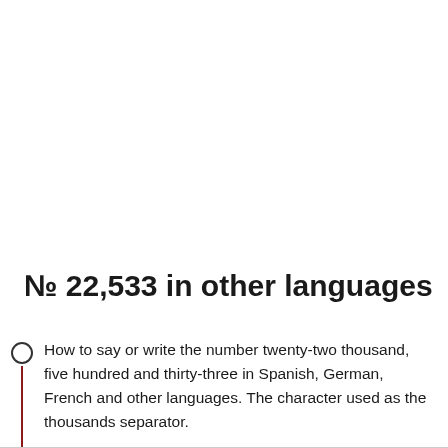№ 22,533 in other languages
How to say or write the number twenty-two thousand, five hundred and thirty-three in Spanish, German, French and other languages. The character used as the thousands separator.